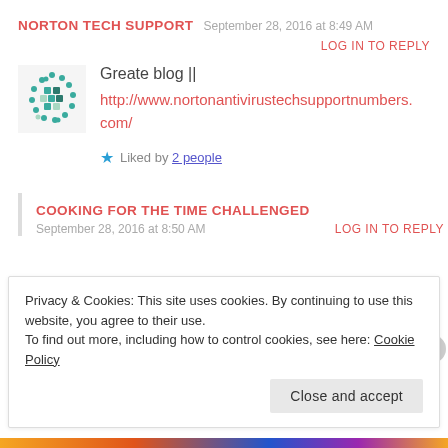NORTON TECH SUPPORT  September 28, 2016 at 8:49 AM
LOG IN TO REPLY
Greate blog || http://www.nortonantivirustechsupportnumbers.com/
Liked by 2 people
COOKING FOR THE TIME CHALLENGED
September 28, 2016 at 8:50 AM  LOG IN TO REPLY
Privacy & Cookies: This site uses cookies. By continuing to use this website, you agree to their use. To find out more, including how to control cookies, see here: Cookie Policy
Close and accept